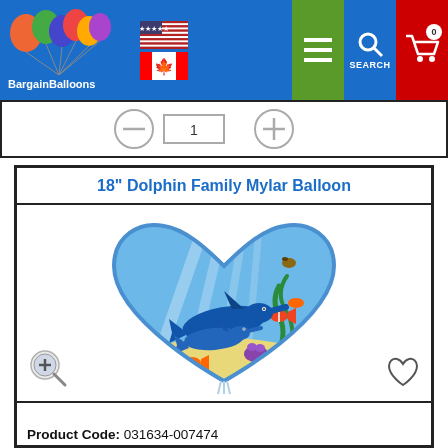BargainBalloons - website header with logo, US and Canada flags, menu, search, and cart icons
18" Dolphin Family Mylar Balloon
[Figure (photo): Heart-shaped blue mylar balloon with ocean scene featuring dolphins, tropical fish, sea anemone, starfish, and seaweed on sandy ocean floor background. Zoom icon bottom-left, heart/wishlist icon bottom-right.]
Mylar Balloon Size: 18"
Print: Double Sided
Make: Flexmetal
Other: Self Sealing Mylar Balloon, sold unpackaged.
Wholesale Discount Price: $0.95 USD
Product Code: 031634-007474